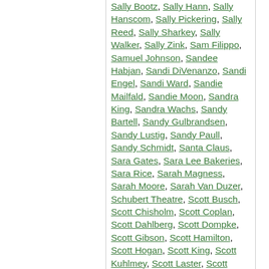Sally Bootz, Sally Hann, Sally Hanscom, Sally Pickering, Sally Reed, Sally Sharkey, Sally Walker, Sally Zink, Sam Filippo, Samuel Johnson, Sandee Habjan, Sandi DiVenanzo, Sandi Engel, Sandi Ward, Sandie Mailfald, Sandie Moon, Sandra King, Sandra Wachs, Sandy Bartell, Sandy Gulbrandsen, Sandy Lustig, Sandy Paull, Sandy Schmidt, Santa Claus, Sara Gates, Sara Lee Bakeries, Sara Rice, Sarah Magness, Sarah Moore, Sarah Van Duzer, Schubert Theatre, Scott Busch, Scott Chisholm, Scott Coplan, Scott Dahlberg, Scott Dompke, Scott Gibson, Scott Hamilton, Scott Hogan, Scott King, Scott Kuhlmey, Scott Laster, Scott Lueders, Scott Lyon, Scott McDermott, Scott Miller, Scott Morrison, Scott Nelson, Scott Norin, Scott Parker, Scott Schneider, Scott Singleton, Scott Swire, Scott Wang, Scott Weber, Scott Woker, Sean Savage, Searchable PDF, Shari Pickering, Sharon Gunderson, Sharon Hayes, Sharon Knesley, Sharon Nault, Sharon Nolan, Sharon Tobolski, Sharon Weiss, Sheila Maloney, Shelley Keyes, Shelley Morell, Shelly Kay, Sheri Silverman, Sherri VonDerlinden, Sherri Wadham, Sherrill Matta, Sherry Boerma, Sherry Byars, Sherry Kennedy, Sherry Kuehn, Sheryl Mills, Shirley Stanley, Sid Jacobson, Sigmund Freud, Social Issues, Softball...